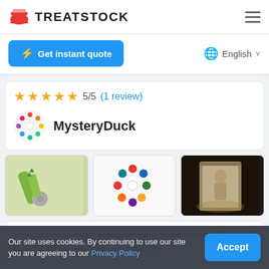TREATSTOCK
Get instant quote
English
5/5 (1 review)
MysteryDuck
[Figure (photo): Green dinosaur keychain on a metal ring]
[Figure (photo): Colorful duck-shaped charms arranged in a circle on a keychain]
[Figure (photo): 3D printed lithophane lamp showing a figure]
Hallo, Ik ben Software programmeur in hoofd beroep. Ik ben ook gepassioneerd door alles... read more
Our site uses cookies. By continuing to use our site you are agreeing to our Privacy Policy